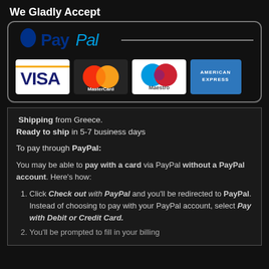We Gladly Accept
[Figure (logo): PayPal logo with blue P icon and PayPal wordmark, followed by a horizontal line, inside a rounded rectangle box containing VISA, MasterCard, Maestro, and American Express card logos]
Shipping from Greece. Ready to ship in 5-7 business days
To pay through PayPal:
You may be able to pay with a card via PayPal without a PayPal account. Here's how:
Click Check out with PayPal and you'll be redirected to PayPal. Instead of choosing to pay with your PayPal account, select Pay with Debit or Credit Card.
You'll be prompted to fill in your billing